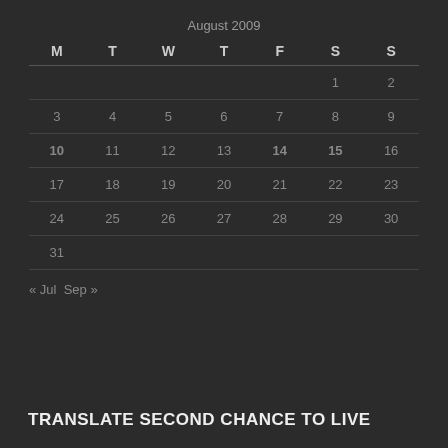August 2009
| M | T | W | T | F | S | S |
| --- | --- | --- | --- | --- | --- | --- |
|  |  |  |  |  | 1 | 2 |
| 3 | 4 | 5 | 6 | 7 | 8 | 9 |
| 10 | 11 | 12 | 13 | 14 | 15 | 16 |
| 17 | 18 | 19 | 20 | 21 | 22 | 23 |
| 24 | 25 | 26 | 27 | 28 | 29 | 30 |
| 31 |  |  |  |  |  |  |
« Jul  Sep »
TRANSLATE SECOND CHANCE TO LIVE